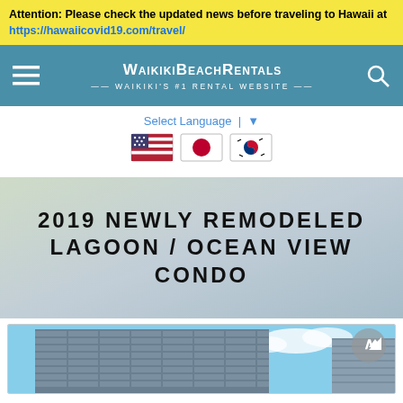Attention: Please check the updated news before traveling to Hawaii at https://hawaiicovid19.com/travel/
[Figure (screenshot): WaikikiBeachRentals navigation bar with hamburger menu icon, site logo/title, and search icon on teal/blue background]
Select Language ▼
[Figure (illustration): Three flag icons side by side: US flag, Japanese flag, and South Korean flag]
2019 NEWLY REMODELED LAGOON / OCEAN VIEW CONDO
[Figure (photo): Partial view of a hotel/condo building against a blue sky, bottom portion of page]